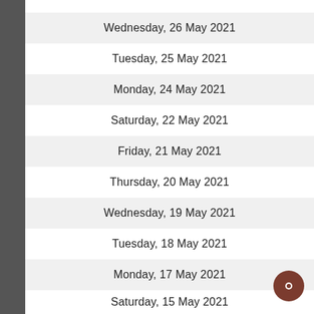Wednesday, 26 May 2021
Tuesday, 25 May 2021
Monday, 24 May 2021
Saturday, 22 May 2021
Friday, 21 May 2021
Thursday, 20 May 2021
Wednesday, 19 May 2021
Tuesday, 18 May 2021
Monday, 17 May 2021
Saturday, 15 May 2021